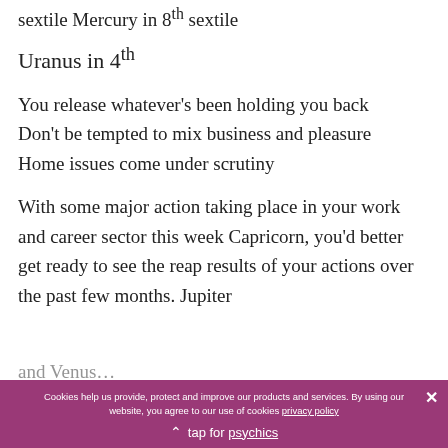sextile Mercury in 8th sextile
Uranus in 4th
You release whatever's been holding you back
Don't be tempted to mix business and pleasure
Home issues come under scrutiny
With some major action taking place in your work and career sector this week Capricorn, you'd better get ready to see the reap results of your actions over the past few months. Jupiter and Venus...
Cookies help us provide, protect and improve our products and services. By using our website, you agree to our use of cookies privacy policy
tap for psychics